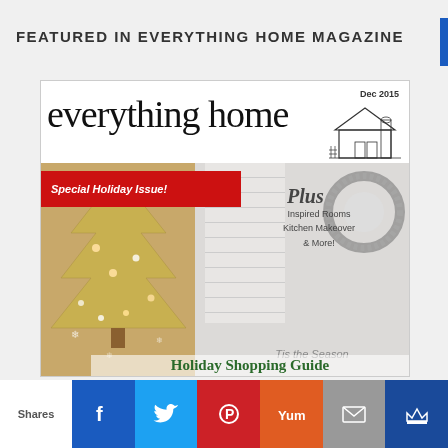FEATURED IN EVERYTHING HOME MAGAZINE
[Figure (photo): Magazine cover of 'everything home' December 2015 Special Holiday Issue, featuring a Christmas tree, a wreath, holiday stockings, and text 'Plus Inspired Rooms Kitchen Makeover & More!' and 'Holiday Shopping Guide']
Shares
[Figure (infographic): Social share buttons: Facebook, Twitter, Pinterest, Yummly, Email, Crown/save]